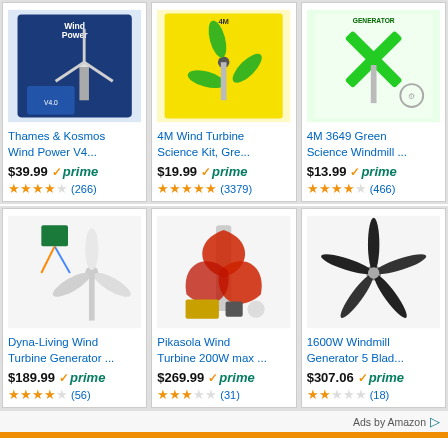[Figure (screenshot): Amazon product grid showing 6 wind turbine/generator products with prices, prime badges, and star ratings]
Thames & Kosmos Wind Power V4...
$39.99 prime (266) 3.5 stars
4M Wind Turbine Science Kit, Gre...
$19.99 prime (3379) 4.5 stars
4M 3649 Green Science Windmill ...
$13.99 prime (466) 3.5 stars
Dyna-Living Wind Turbine Generator ...
$189.99 prime (56) 3.5 stars
Pikasola Wind Turbine 200W max ...
$269.99 prime (31) 3 stars
1600W Windmill Generator 5 Blad...
$307.06 prime (18) 2 stars
Ads by Amazon